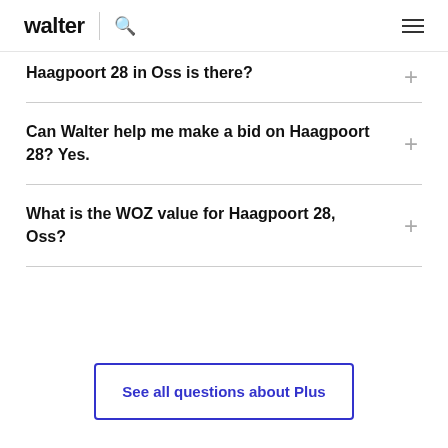walter
Haagpoort 28 in Oss is there?
Can Walter help me make a bid on Haagpoort 28? Yes.
What is the WOZ value for Haagpoort 28, Oss?
See all questions about Plus